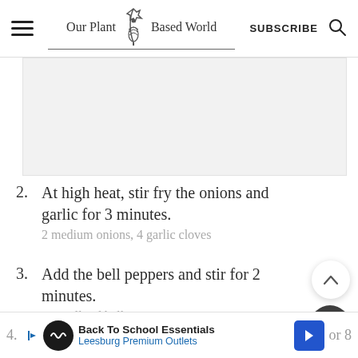Our Plant Based World | SUBSCRIBE
[Figure (other): Image placeholder area (recipe photo, partially visible)]
2. At high heat, stir fry the onions and garlic for 3 minutes.
2 medium onions, 4 garlic cloves
3. Add the bell peppers and stir for 2 minutes.
½ small red bell pepper
4. [partially visible] or 8
Back To School Essentials — Leesburg Premium Outlets (advertisement)